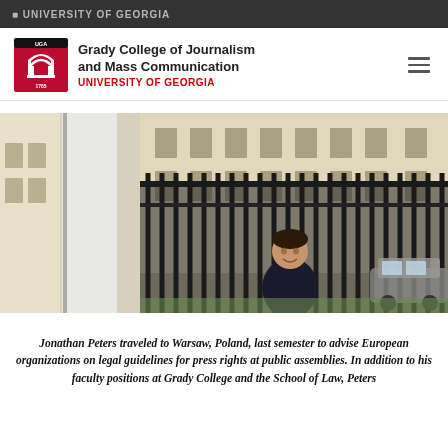UNIVERSITY OF GEORGIA
Grady College of Journalism and Mass Communication
UNIVERSITY OF GEORGIA
[Figure (photo): Jonathan Peters standing in front of a large iron gate and a classical European building. A banner with 'ODIHR' is visible on the left side.]
Jonathan Peters traveled to Warsaw, Poland, last semester to advise European organizations on legal guidelines for press rights at public assemblies. In addition to his faculty positions at Grady College and the School of Law, Peters